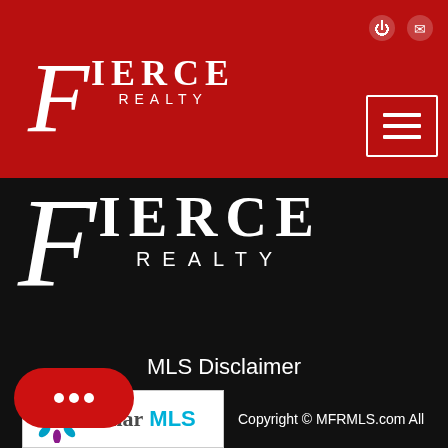Fierce Realty
[Figure (logo): Fierce Realty large white logo on black background]
MLS Disclaimer
[Figure (logo): Stellar MLS logo - white background with snowflake star icon in teal/blue/purple colors, text 'Stellar MLS' in grey and blue]
Copyright © MFRMLS.com All information deemed reliable but not guaranteed. All properties are subject to prior sale, change or withdrawal. Neither listing broker(s) or information provider(s) shall be responsible for any typographical errors, misinformation, misprints and shall be held harmless. Listing(s) information is provided for consumers personal, non-commercial use and may not be used for any
[Figure (other): Red chat bubble button with three animated dots]